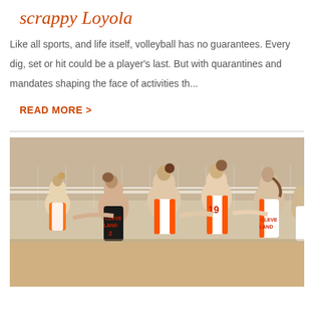scrappy Loyola
Like all sports, and life itself, volleyball has no guarantees. Every dig, set or hit could be a player's last. But with quarantines and mandates shaping the face of activities th...
READ MORE >
[Figure (photo): Cleveland high school girls volleyball team celebrating together near the net, wearing orange and white uniforms with red lettering, player number 19 visible]